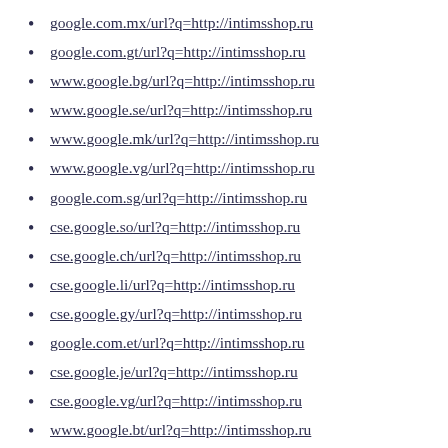google.com.mx/url?q=http://intimsshop.ru
google.com.gt/url?q=http://intimsshop.ru
www.google.bg/url?q=http://intimsshop.ru
www.google.se/url?q=http://intimsshop.ru
www.google.mk/url?q=http://intimsshop.ru
www.google.vg/url?q=http://intimsshop.ru
google.com.sg/url?q=http://intimsshop.ru
cse.google.so/url?q=http://intimsshop.ru
cse.google.ch/url?q=http://intimsshop.ru
cse.google.li/url?q=http://intimsshop.ru
cse.google.gy/url?q=http://intimsshop.ru
google.com.et/url?q=http://intimsshop.ru
cse.google.je/url?q=http://intimsshop.ru
cse.google.vg/url?q=http://intimsshop.ru
www.google.bt/url?q=http://intimsshop.ru
cse.google.dk/url?q=http://intimsshop.ru
cse.google.tg/url?q=http://intimsshop.ru
www.google.md/url?q=http://intimsshop.ru
www.google.ae/url?q=http://intimsshop.ru